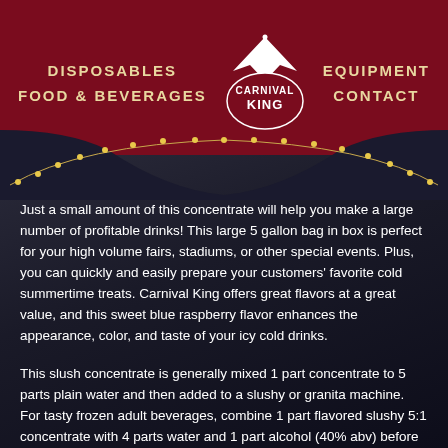DISPOSABLES   FOOD & BEVERAGES   CARNIVAL KING   EQUIPMENT   CONTACT
…end.
Just a small amount of this concentrate will help you make a large number of profitable drinks! This large 5 gallon bag in box is perfect for your high volume fairs, stadiums, or other special events. Plus, you can quickly and easily prepare your customers' favorite cold summertime treats. Carnival King offers great flavors at a great value, and this sweet blue raspberry flavor enhances the appearance, color, and taste of your icy cold drinks.
This slush concentrate is generally mixed 1 part concentrate to 5 parts plain water and then added to a slushy or granita machine. For tasty frozen adult beverages, combine 1 part flavored slushy 5:1 concentrate with 4 parts water and 1 part alcohol (40% abv) before freezing in your slushy or granita machine! The 5 gallon bag in…